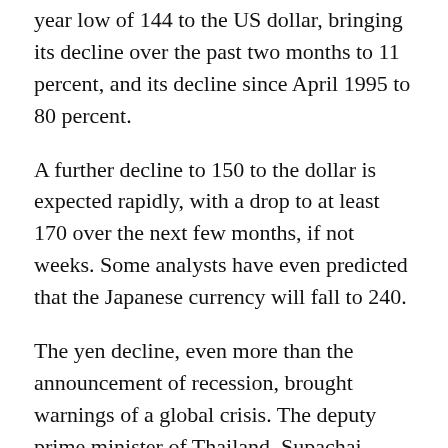year low of 144 to the US dollar, bringing its decline over the past two months to 11 percent, and its decline since April 1995 to 80 percent.
A further decline to 150 to the dollar is expected rapidly, with a drop to at least 170 over the next few months, if not weeks. Some analysts have even predicted that the Japanese currency will fall to 240.
The yen decline, even more than the announcement of recession, brought warnings of a global crisis. The deputy prime minister of Thailand, Supachai Panitchpakdi said excessive falls could lead to a global depression. The major international powers had to ensure that Asia does not "slide in a second Asian crisis … because a second crisis in Asia will become the first worldwide crisis."
Speaking to a Stockholm International Peace Research Institute conference last Thursday, international financier